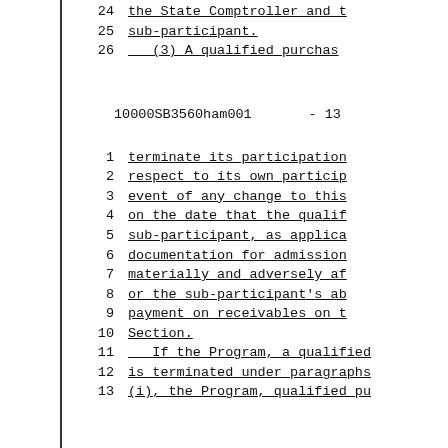24     the State Comptroller and t
25     sub-participant.
26     (3) A qualified purchas
10000SB3560ham001     - 13
1     terminate its participation
2     respect to its own particip
3     event of any change to this
4     on the date that the qualif
5     sub-participant, as applica
6     documentation for admission
7     materially and adversely af
8     or the sub-participant's ab
9     payment on receivables on t
10    Section.
11    If the Program, a qualified
12    is terminated under paragraphs
13    (i), the Program, qualified pu